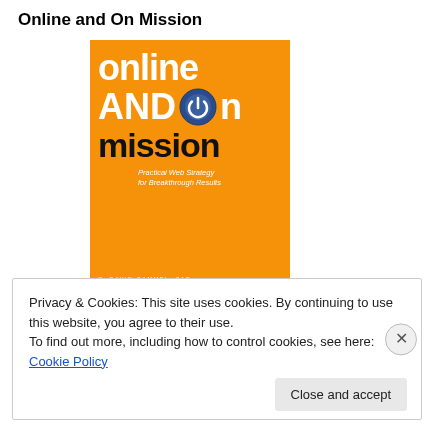Online and On Mission
[Figure (illustration): Book cover for 'Online and On Mission: Practical Web Strategy for Breakthrough Results' by C. David Gammel, CAE. Orange background with bold white text reading 'online AND on mission' with a power button icon replacing the 'o' in 'on'. Dark subtitle text and author name at bottom.]
Privacy & Cookies: This site uses cookies. By continuing to use this website, you agree to their use.
To find out more, including how to control cookies, see here: Cookie Policy
Close and accept